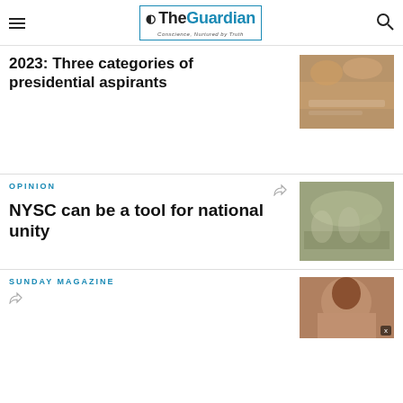The Guardian — Conscience, Nurtured by Truth
2023: Three categories of presidential aspirants
[Figure (photo): People kneeling on a decorative cloth/carpet outdoors]
OPINION
NYSC can be a tool for national unity
[Figure (photo): NYSC corps members in uniform marching or standing in formation]
SUNDAY MAGAZINE
[Figure (photo): Portrait of a man, partially visible]